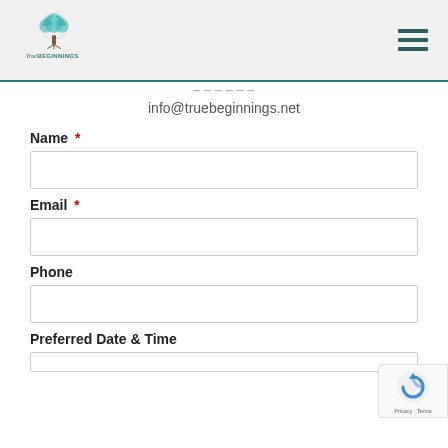[Figure (logo): True Beginnings logo with teal tree illustration and cursive/bold text]
info@truebeginnings.net
Name *
Email *
Phone
Preferred Date & Time